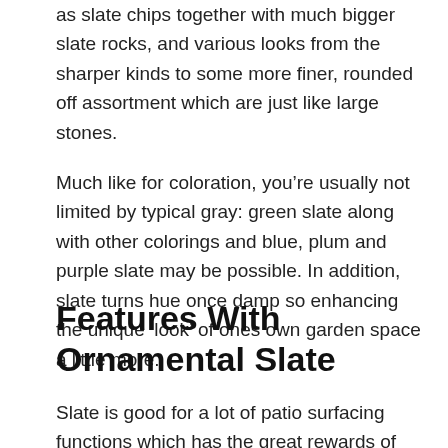as slate chips together with much bigger slate rocks, and various looks from the sharper kinds to some more finer, rounded off assortment which are just like large stones.
Much like for coloration, you’re usually not limited by typical gray: green slate along with other colorings and blue, plum and purple slate may be possible. In addition, slate turns hue once damp so enhancing the unique ‘look’ of ones own garden space a little more.
Features With Ornamental Slate
Slate is good for a lot of patio surfacing functions which has the great rewards of simply being a great deal less